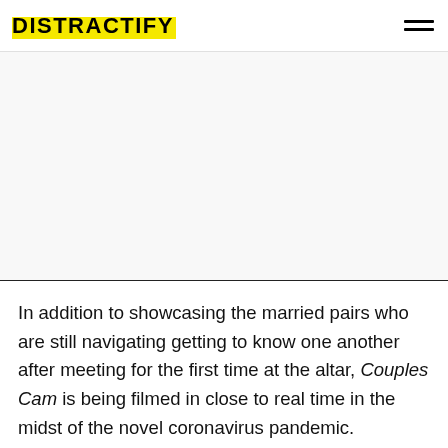DISTRACTIFY
In addition to showcasing the married pairs who are still navigating getting to know one another after meeting for the first time at the altar, Couples Cam is being filmed in close to real time in the midst of the novel coronavirus pandemic.